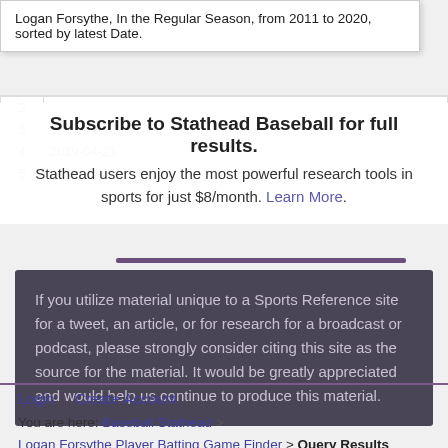Logan Forsythe, In the Regular Season, from 2011 to 2020, sorted by latest Date.
| 2 | ... |  |
| 3 | 2019-04-22 |  |
| 4 | 2019-04-21 |  |
| 5 | 2019-04-20 |  |
Subscribe to Stathead Baseball for full results.
Stathead users enjoy the most powerful research tools in sports for just $8/month. Learn More.
If you utilize material unique to a Sports Reference site for a tweet, an article, or for research for a broadcast or podcast, please strongly consider citing this site as the source for the material. It would be greatly appreciated and would help us continue to produce this material.
Login · Create Account
You are here: Baseball Stathead > Logan Forsythe Player Batting Game Finder > Query Results
Full Site Menu
Return to Top